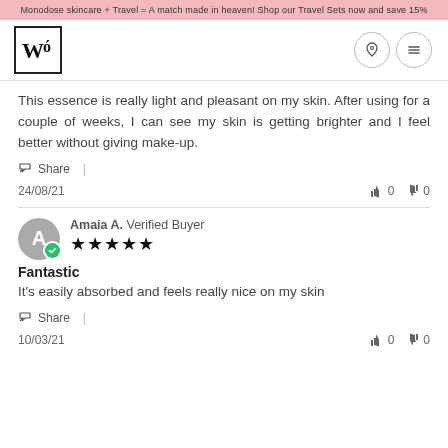Monodose skincare + Travel = A match made in heaven! Shop our Travel Sets now and save 15%
[Figure (logo): Wo brand logo in a square border]
This essence is really light and pleasant on my skin. After using for a couple of weeks, I can see my skin is getting brighter and I feel better without giving make-up.
Share |
24/08/21  👍 0  👎 0
Amaia A. Verified Buyer ★★★★★
Fantastic
It's easily absorbed and feels really nice on my skin
Share |
10/03/21  👍 0  👎 0